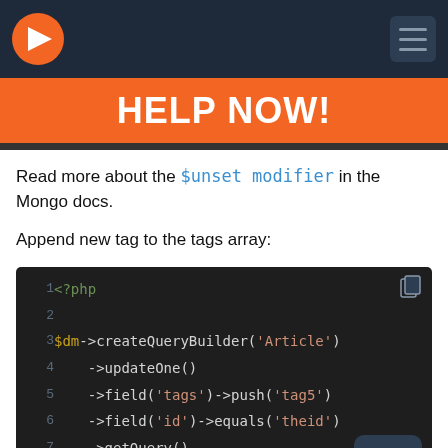[Figure (screenshot): Navigation bar with orange arrow logo on dark blue background and hamburger menu icon]
HELP NOW!
Read more about the $unset modifier in the Mongo docs.
Append new tag to the tags array:
[Figure (screenshot): PHP code block on dark background showing createQueryBuilder with updateOne, field/push for tags, field/equals for id, getQuery, and execute calls]